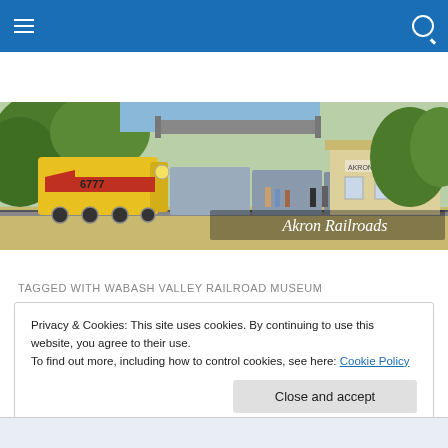Navigation menu with hamburger icon and search icon on blue bar
[Figure (photo): A yellow diesel locomotive numbered 6777 with red chevron stripe pulling passenger cars into a station platform. A yellow depot building labeled 'Akron' is visible on the right. Trees and an overpass bridge in the background. Text overlay reads 'Akron Railroads'.]
TAGGED WITH WABASH VALLEY RAILROAD MUSEUM
Privacy & Cookies: This site uses cookies. By continuing to use this website, you agree to their use.
To find out more, including how to control cookies, see here: Cookie Policy
Close and accept